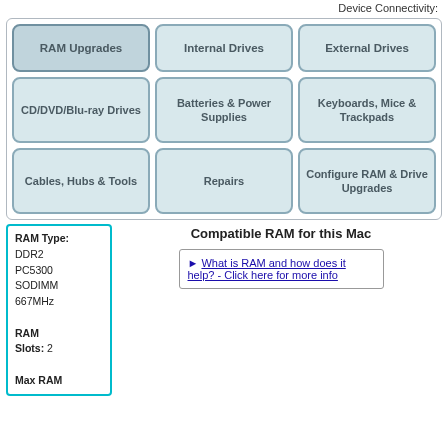Device Connectivity:
[Figure (infographic): Navigation grid with 9 buttons: RAM Upgrades (active), Internal Drives, External Drives, CD/DVD/Blu-ray Drives, Batteries & Power Supplies, Keyboards Mice & Trackpads, Cables Hubs & Tools, Repairs, Configure RAM & Drive Upgrades]
RAM Type: DDR2 PC5300 SODIMM 667MHz
RAM Slots: 2
Max RAM
Compatible RAM for this Mac
► What is RAM and how does it help? - Click here for more info